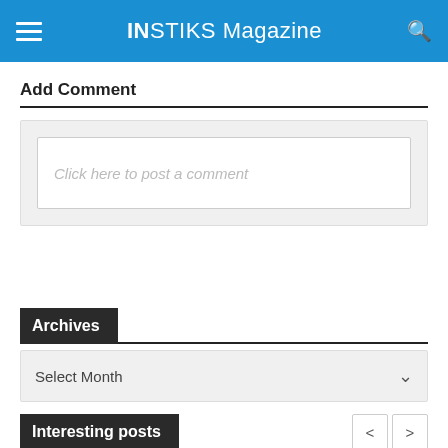INSTIKS Magazine
Add Comment
Click here to post a comment
Archives
Select Month
Interesting posts